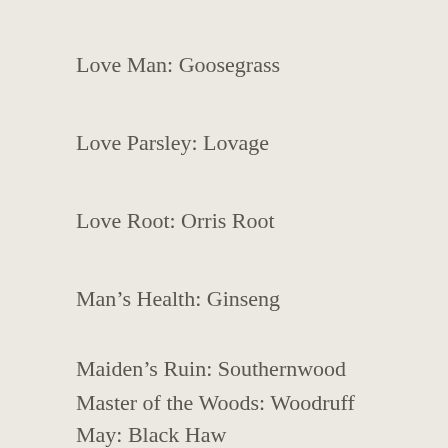Love Man: Goosegrass
Love Parsley: Lovage
Love Root: Orris Root
Man's Health: Ginseng
Maiden's Ruin: Southernwood
Master of the Woods: Woodruff
May: Black Haw